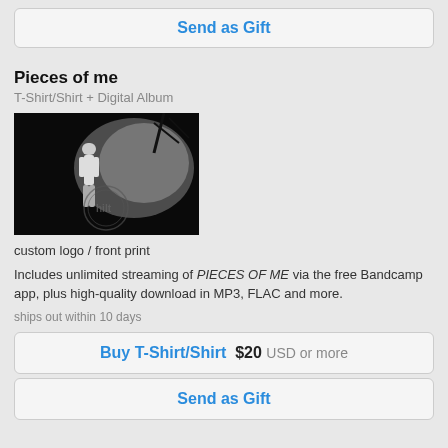Send as Gift
Pieces of me
T-Shirt/Shirt + Digital Album
[Figure (photo): Dark moody photo of a man standing in a misty forest/outdoor setting with a logo/watermark overlay]
custom logo / front print
Includes unlimited streaming of PIECES OF ME via the free Bandcamp app, plus high-quality download in MP3, FLAC and more.
ships out within 10 days
Buy T-Shirt/Shirt  $20 USD or more
Send as Gift